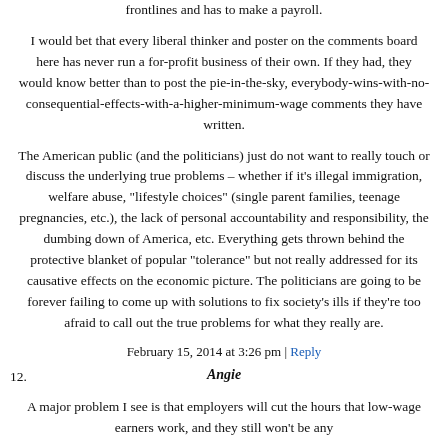frontlines and has to make a payroll.
I would bet that every liberal thinker and poster on the comments board here has never run a for-profit business of their own. If they had, they would know better than to post the pie-in-the-sky, everybody-wins-with-no-consequential-effects-with-a-higher-minimum-wage comments they have written.
The American public (and the politicians) just do not want to really touch or discuss the underlying true problems – whether if it's illegal immigration, welfare abuse, "lifestyle choices" (single parent families, teenage pregnancies, etc.), the lack of personal accountability and responsibility, the dumbing down of America, etc. Everything gets thrown behind the protective blanket of popular "tolerance" but not really addressed for its causative effects on the economic picture. The politicians are going to be forever failing to come up with solutions to fix society's ills if they're too afraid to call out the true problems for what they really are.
February 15, 2014 at 3:26 pm | Reply
12.
Angie
A major problem I see is that employers will cut the hours that low-wage earners work, and they still won't be any